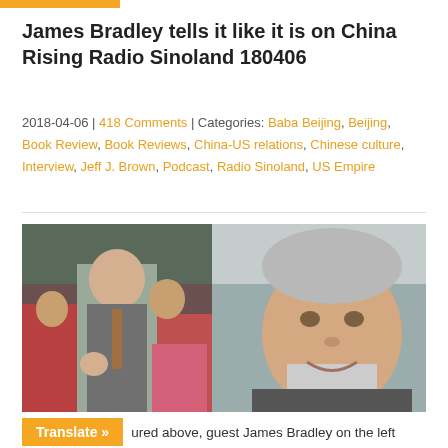James Bradley tells it like it is on China Rising Radio Sinoland 180406
2018-04-06 | 418 Comments | Categories: Baba Beijing, Beijing, Book Review, Book Reviews, China-US relations, Chinese culture, Interview, Jeff J. Brown, Podcast, Radio Sinoland, US Empire
[Figure (photo): Two-panel photo: left panel shows James Bradley with Chinese children giving thumbs up and peace signs, dressed in suit; right panel shows a smiling bald/grey-haired man outdoors with rocky landscape behind him.]
Pictured above, guest James Bradley on the left